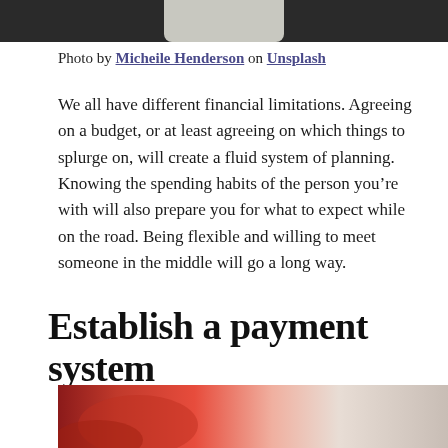[Figure (photo): Top portion of a photo, dark background with a glass object visible at the top of the page]
Photo by Micheile Henderson on Unsplash
We all have different financial limitations. Agreeing on a budget, or at least agreeing on which things to splurge on, will create a fluid system of planning. Knowing the spending habits of the person you’re with will also prepare you for what to expect while on the road. Being flexible and willing to meet someone in the middle will go a long way.
Establish a payment system
[Figure (photo): Bottom portion of a photo showing red and white colors, likely hands or fabric]